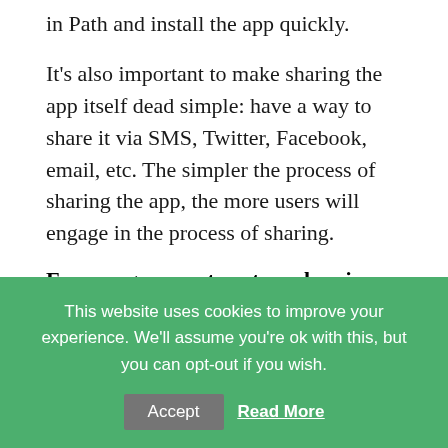in Path and install the app quickly.
It's also important to make sharing the app itself dead simple: have a way to share it via SMS, Twitter, Facebook, email, etc. The simpler the process of sharing the app, the more users will engage in the process of sharing.
Encourage users to rate and review your app
Where an app ranks in search results (and, to a certain extent, Top Charts) depends on how
This website uses cookies to improve your experience. We'll assume you're ok with this, but you can opt-out if you wish.